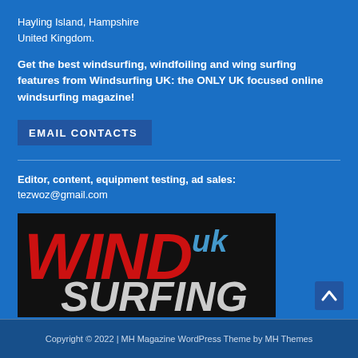Hayling Island, Hampshire
United Kingdom.
Get the best windsurfing, windfoiling and wing surfing features from Windsurfing UK: the ONLY UK focused online windsurfing magazine!
EMAIL CONTACTS
Editor, content, equipment testing, ad sales:
tezwoz@gmail.com
[Figure (logo): Windsurfing UK magazine logo with large red WIND text, grey SURFING text, and blue UK text on black background]
Copyright © 2022 | MH Magazine WordPress Theme by MH Themes